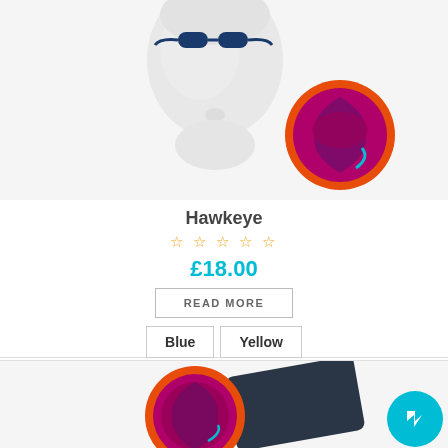[Figure (photo): Styrofoam mannequin head wearing blue swimming goggles with an orange-rimmed purple disc badge product next to it, on white background]
Hawkeye
☆☆☆☆☆ (5 empty stars rating)
£18.00
READ MORE
Blue   Yellow
[Figure (photo): Orange-rimmed purple disc badge product next to a dark navy case/pouch and a teal Facebook Messenger chat button overlay in the bottom right]